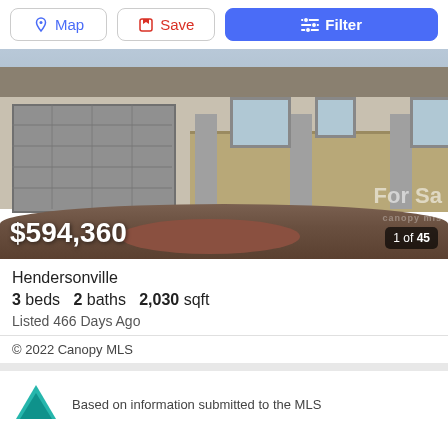[Figure (screenshot): Navigation buttons: Map, Save, Filter]
[Figure (photo): Exterior photo of a house under construction with garage, covered porch with stone pillars, dirt foreground. Watermark text 'For Sa...' and 'canopy mls' visible. Price $594,360 overlaid at bottom left. Photo counter '1 of 45' at bottom right.]
Hendersonville
3 beds  2 baths  2,030 sqft
Listed 466 Days Ago
© 2022 Canopy MLS
Based on information submitted to the MLS